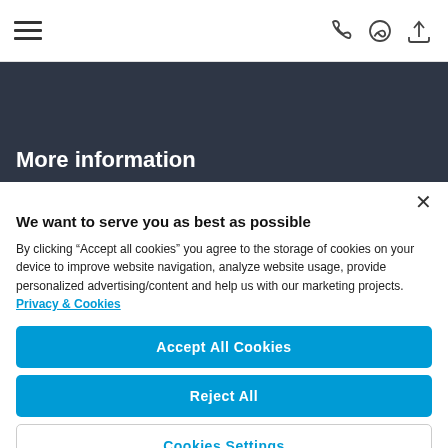[Figure (screenshot): Top navigation bar with hamburger menu icon on left and phone, WhatsApp, and upload icons on right]
More information
We want to serve you as best as possible
By clicking “Accept all cookies” you agree to the storage of cookies on your device to improve website navigation, analyze website usage, provide personalized advertising/content and help us with our marketing projects. Privacy & Cookies
Accept All Cookies
Reject All
Cookies Settings